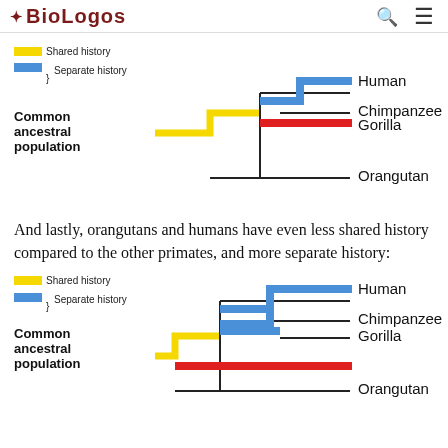BioLogos
[Figure (other): Phylogenetic tree diagram showing shared (yellow) and separate (blue/red) evolutionary history among Human, Chimpanzee, Gorilla, and Orangutan, with a common ancestral population on the left.]
And lastly, orangutans and humans have even less shared history compared to the other primates, and more separate history:
[Figure (other): Second phylogenetic tree diagram showing Human, Chimpanzee, Gorilla, and Orangutan with more separate history (more red) and less shared history (less yellow), common ancestral population on the left.]